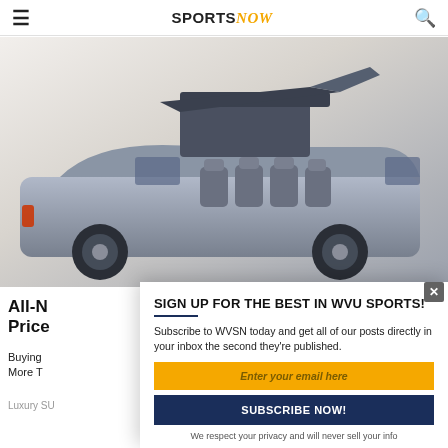SPORTS Now
[Figure (photo): Luxury SUV with open roof panel and exposed interior seating, studio background]
All-N... Price...
Buying... More T...
Luxury SU...
SIGN UP FOR THE BEST IN WVU SPORTS!
Subscribe to WVSN today and get all of our posts directly in your inbox the second they're published.
Enter your email here
SUBSCRIBE NOW!
We respect your privacy and will never sell your info